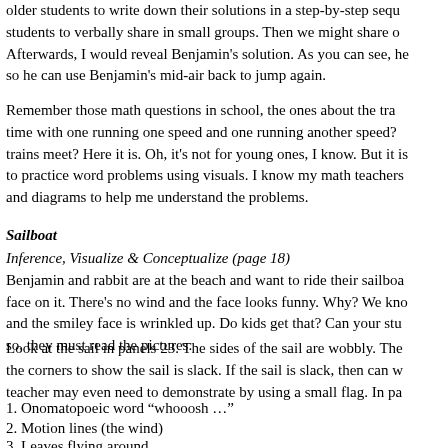older students to write down their solutions in a step-by-step sequence students to verbally share in small groups. Then we might share o Afterwards, I would reveal Benjamin's solution. As you can see, he so he can use Benjamin's mid-air back to jump again.
Remember those math questions in school, the ones about the tra time with one running one speed and one running another speed? trains meet? Here it is. Oh, it's not for young ones, I know. But it is to practice word problems using visuals. I know my math teachers and diagrams to help me understand the problems.
Sailboat
Inference, Visualize & Conceptualize (page 18)
Benjamin and rabbit are at the beach and want to ride their sailboa face on it. There's no wind and the face looks funny. Why? We kno and the smiley face is wrinkled up. Do kids get that? Can your stu so, they must read the pictures.
Look at the sail in panels 23. The sides of the sail are wobbly. The the corners to show the sail is slack. If the sail is slack, then can w teacher may even need to demonstrate by using a small flag. In pa
1. Onomatopoeic word “whooosh …”
2. Motion lines (the wind)
3. Leaves flying around
4. Rabbits ears pushed forward